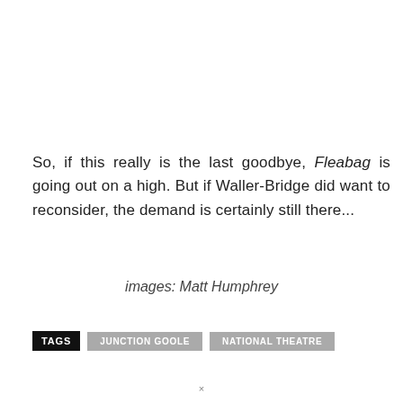So, if this really is the last goodbye, Fleabag is going out on a high. But if Waller-Bridge did want to reconsider, the demand is certainly still there...
images: Matt Humphrey
TAGS   JUNCTION GOOLE   NATIONAL THEATRE